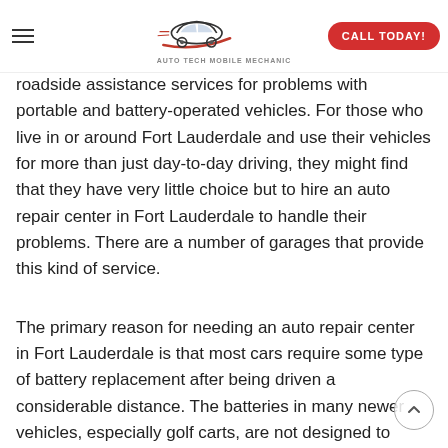[Figure (logo): Auto Tech Mobile Mechanic logo with car silhouette graphic and text 'AUTO TECH MOBILE MECHANIC']
roadside assistance services for problems with portable and battery-operated vehicles. For those who live in or around Fort Lauderdale and use their vehicles for more than just day-to-day driving, they might find that they have very little choice but to hire an auto repair center in Fort Lauderdale to handle their problems. There are a number of garages that provide this kind of service.
The primary reason for needing an auto repair center in Fort Lauderdale is that most cars require some type of battery replacement after being driven a considerable distance. The batteries in many newer vehicles, especially golf carts, are not designed to handle a tremendous amount of driving before they become worn out. Fortunately, most battery